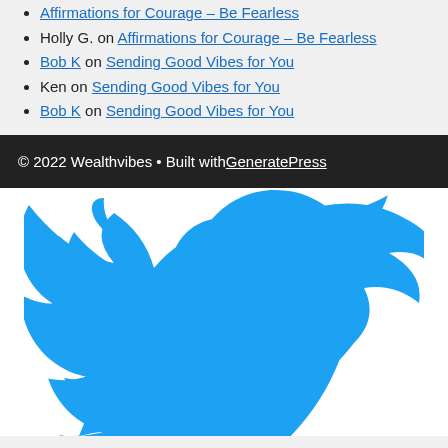Affirmations for Courage – Be Fearless
Holly G. on Affirmations for Courage – Be Fearless
Bob K on Sending Good Vibes for You
Ken on Sending Good Vibes for You
Bob K on Sending Good Vibes for You
© 2022 Wealthvibes • Built with GeneratePress
[Figure (logo): Twitter bird logo in blue on white background]